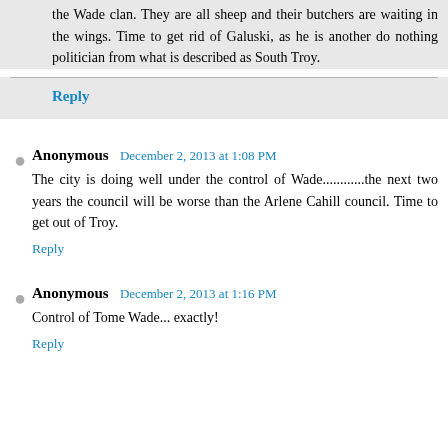the Wade clan. They are all sheep and their butchers are waiting in the wings. Time to get rid of Galuski, as he is another do nothing politician from what is described as South Troy.
Reply
Anonymous December 2, 2013 at 1:08 PM
The city is doing well under the control of Wade............the next two years the council will be worse than the Arlene Cahill council. Time to get out of Troy.
Reply
Anonymous December 2, 2013 at 1:16 PM
Control of Tome Wade... exactly!
Reply